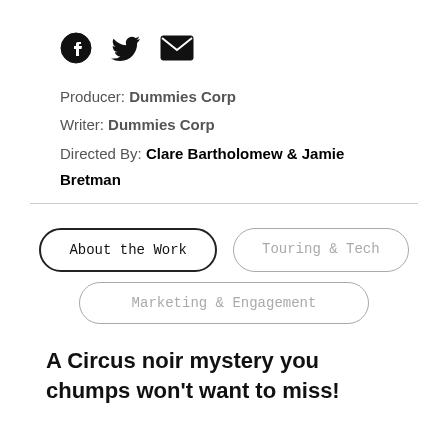[Figure (other): Social media sharing icons: Facebook, Twitter, and email/envelope icons in black]
Producer: Dummies Corp
Writer: Dummies Corp
Directed By: Clare Bartholomew & Jamie Bretman
About the Work
Touring & Tech
Marketing & Engagement
A Circus noir mystery you chumps won't want to miss!